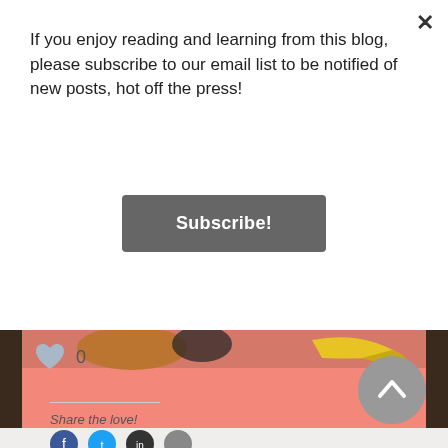If you enjoy reading and learning from this blog, please subscribe to our email list to be notified of new posts, hot off the press!
Subscribe!
[Figure (photo): Photo of toy figures on a pink background, partially visible at the bottom of a dark wood-framed blog post area]
0
Share the love!